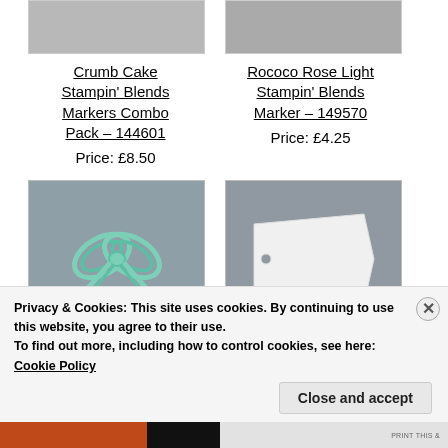[Figure (photo): Crumb Cake color swatch or product image, partially visible at top, gray background]
[Figure (photo): Rococo Rose Light color swatch or product image, partially visible at top, gray background]
Crumb Cake Stampin' Blends Markers Combo Pack – 144601
Price: £8.50
Rococo Rose Light Stampin' Blends Marker – 149570
Price: £4.25
[Figure (photo): Mint/teal ribbon bow on gray background]
[Figure (photo): White tag/label on gray background]
Privacy & Cookies: This site uses cookies. By continuing to use this website, you agree to their use.
To find out more, including how to control cookies, see here:
Cookie Policy
Close and accept